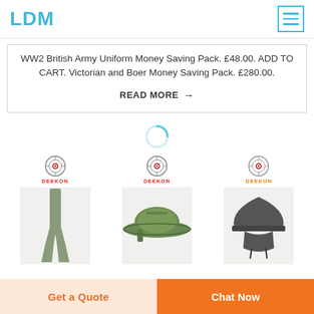LDM
WW2 British Army Uniform Money Saving Pack. £48.00. ADD TO CART. Victorian and Boer Money Saving Pack. £280.00.
READ MORE →
[Figure (other): Loading spinner (circular progress indicator in light blue)]
[Figure (other): Three military product items each with DEEKON logo: a scarf/wrap in olive green, a camouflage boonie hat, and a dark military helmet with cover]
Get a Quote
Chat Now